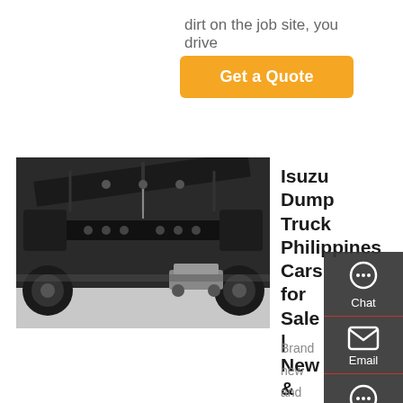dirt on the job site, you drive
Get a Quote
[Figure (photo): Undercarriage of an Isuzu dump truck viewed from below, showing axles, chassis frame and suspension components, with a car visible in the background parking lot.]
Isuzu Dump Truck Philippines Cars for Sale | New & Used Isuzu ...
Brand new and used Isuzu Dump Truck for sale in the Philippines. Isuzu Dump Truck dealers, garages, prices, values & deals. Currently we have 14 Isuzu Dump Truck vehicles for sale. Private sales or pre-owned